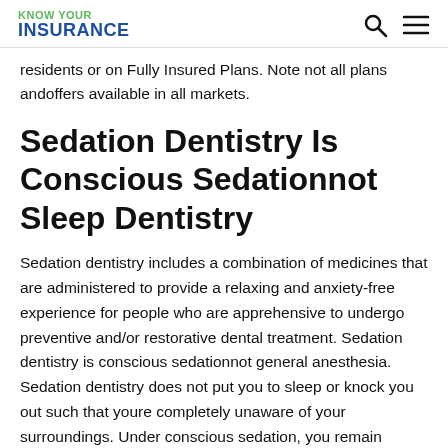KNOW YOUR INSURANCE
residents or on Fully Insured Plans. Note not all plans andoffers available in all markets.
Sedation Dentistry Is Conscious Sedationnot Sleep Dentistry
Sedation dentistry includes a combination of medicines that are administered to provide a relaxing and anxiety-free experience for people who are apprehensive to undergo preventive and/or restorative dental treatment. Sedation dentistry is conscious sedationnot general anesthesia. Sedation dentistry does not put you to sleep or knock you out such that youre completely unaware of your surroundings. Under conscious sedation, you remain awake and are able if necessary to communicate and respond to